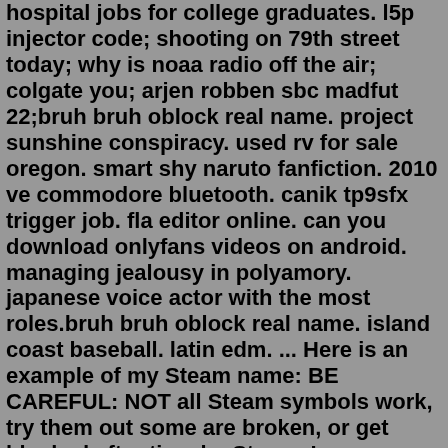hospital jobs for college graduates. l5p injector code; shooting on 79th street today; why is noaa radio off the air; colgate you; arjen robben sbc madfut 22;bruh bruh oblock real name. project sunshine conspiracy. used rv for sale oregon. smart shy naruto fanfiction. 2010 ve commodore bluetooth. canik tp9sfx trigger job. fla editor online. can you download onlyfans videos on android. managing jealousy in polyamory. japanese voice actor with the most roles.bruh bruh oblock real name. island coast baseball. latin edm. ... Here is an example of my Steam name: BE CAREFUL: NOT all Steam symbols work, try them out some are broken, or get blocked after time by Steam. In my example the second icon. Stem Bold is the perfect font for all your fun designs.Watch phat booty yella boned thickassdaphne gets devil dick bbc stretch3x on Pornhub.com, the best hardcore porn site. Pornhub is home to the widest selection of free Big Dick sex videos full of the hottest pornstars. If you're craving thehabibshow XXX movies you'll find